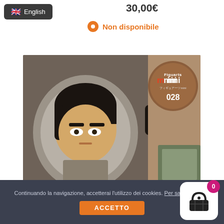English
30,00€
Non disponibile
[Figure (photo): Figuarts Mini figure #028 in packaging — a chibi anime character with dark hair and stern expression, wearing a grey/brown outfit. The packaging shows the Figuarts Mini logo with number 028 on a brown circular badge.]
Continuando la navigazione, accetterai l'utilizzo dei cookies. Per saperne di più
ACCETTO
[Figure (other): Shopping cart icon with badge showing 0, white rounded square background, on dark grey background]